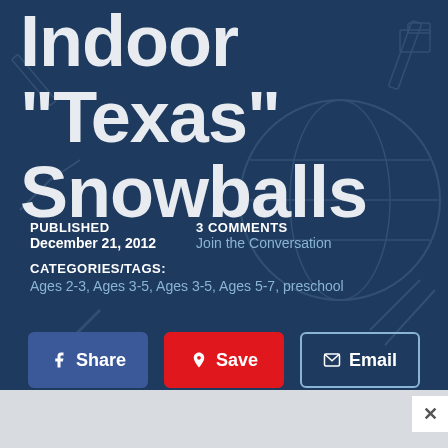Indoor "Texas" Snowballs
PUBLISHED
December 21, 2012
3 COMMENTS
Join the Conversation
CATEGORIES/TAGS:
Ages 2-3, Ages 3-5, Ages 3-5, Ages 5-7, preschool
Share
Save
Email